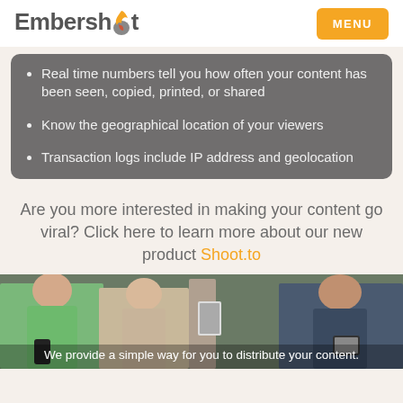Embershot | MENU
Real time numbers tell you how often your content has been seen, copied, printed, or shared
Know the geographical location of your viewers
Transaction logs include IP address and geolocation
Are you more interested in making your content go viral? Click here to learn more about our new product Shoot.to
[Figure (photo): Group of people holding smartphones and tablets]
We provide a simple way for you to distribute your content.